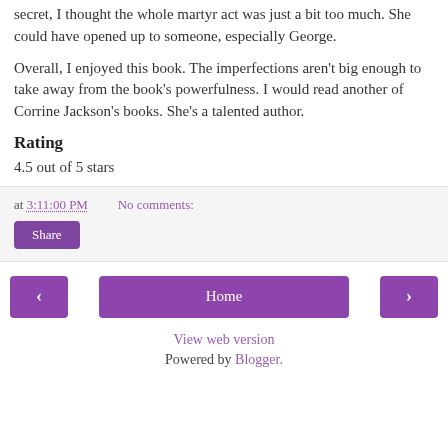secret, I thought the whole martyr act was just a bit too much. She could have opened up to someone, especially George.
Overall, I enjoyed this book. The imperfections aren't big enough to take away from the book's powerfulness. I would read another of Corrine Jackson's books. She's a talented author.
Rating
4.5 out of 5 stars
at 3:11:00 PM   No comments:
Share
‹   Home   ›
View web version
Powered by Blogger.